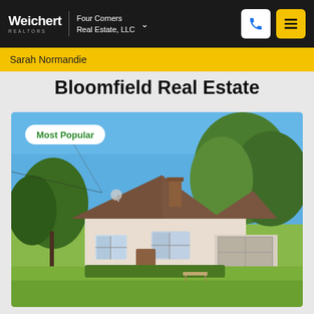Weichert REALTORS | Four Corners Real Estate, LLC
Sarah Normandie
Bloomfield Real Estate
[Figure (photo): Exterior photo of a residential house with brown roof, white siding, brick chimney, large green trees, and a wide green lawn under a clear blue sky. A 'Most Popular' badge overlays the top-left corner of the photo.]